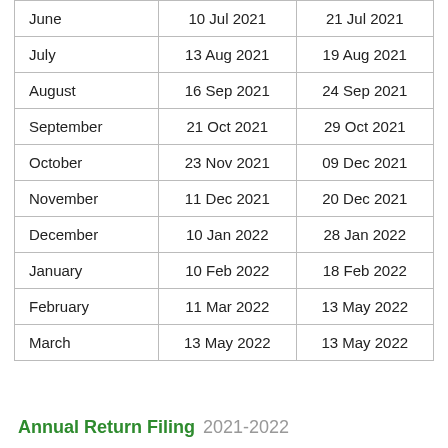| June | 10 Jul 2021 | 21 Jul 2021 |
| July | 13 Aug 2021 | 19 Aug 2021 |
| August | 16 Sep 2021 | 24 Sep 2021 |
| September | 21 Oct 2021 | 29 Oct 2021 |
| October | 23 Nov 2021 | 09 Dec 2021 |
| November | 11 Dec 2021 | 20 Dec 2021 |
| December | 10 Jan 2022 | 28 Jan 2022 |
| January | 10 Feb 2022 | 18 Feb 2022 |
| February | 11 Mar 2022 | 13 May 2022 |
| March | 13 May 2022 | 13 May 2022 |
Annual Return Filing 2021-2022